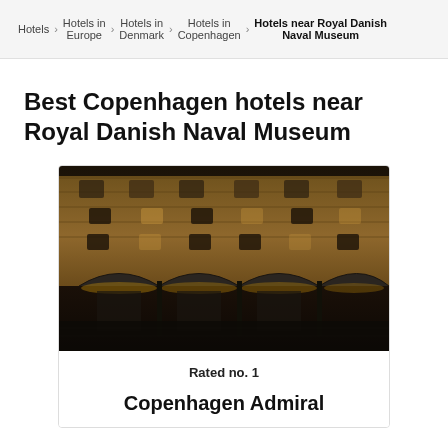Hotels > Hotels in Europe > Hotels in Denmark > Hotels in Copenhagen > Hotels near Royal Danish Naval Museum
Best Copenhagen hotels near Royal Danish Naval Museum
[Figure (photo): Exterior night photo of Copenhagen Admiral Hotel showing stone facade with arched entrances and warm lighting]
Rated no. 1
Copenhagen Admiral